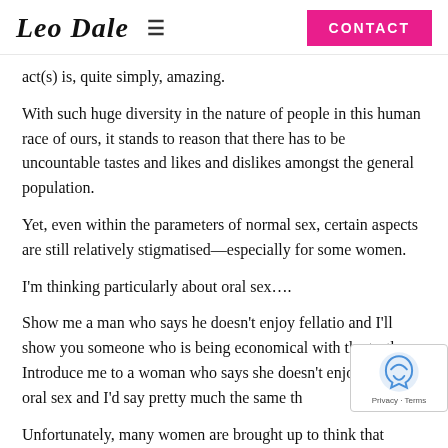Leo Dale | CONTACT
act(s) is, quite simply, amazing.
With such huge diversity in the nature of people in this human race of ours, it stands to reason that there has to be uncountable tastes and likes and dislikes amongst the general population.
Yet, even within the parameters of normal sex, certain aspects are still relatively stigmatised—especially for some women.
I'm thinking particularly about oral sex….
Show me a man who says he doesn't enjoy fellatio and I'll show you someone who is being economical with the truth. Introduce me to a woman who says she doesn't enjoy receiving oral sex and I'd say pretty much the same th
Unfortunately, many women are brought up to think that